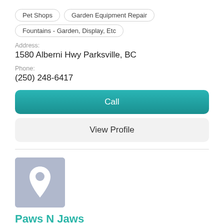Pet Shops
Garden Equipment Repair
Fountains - Garden, Display, Etc
Address:
1580 Alberni Hwy Parksville, BC
Phone:
(250) 248-6417
Call
View Profile
[Figure (illustration): Map pin / location placeholder icon on a grey-blue background]
Paws N Jaws
Pet Shops
Address: